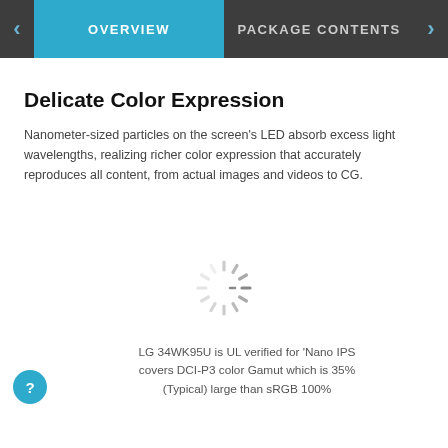OVERVIEW | PACKAGE CONTENTS
Delicate Color Expression
Nanometer-sized particles on the screen's LED absorb excess light wavelengths, realizing richer color expression that accurately reproduces all content, from actual images and videos to CG.
[Figure (illustration): Loading spinner icon (animated circular spinner with radiating lines in gray)]
LG 34WK95U is UL verified for 'Nano IPS covers DCI-P3 color Gamut which is 35% (Typical) large than sRGB 100%